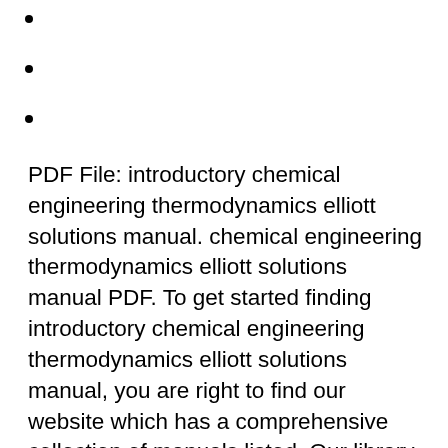•
•
•
PDF File: introductory chemical engineering thermodynamics elliott solutions manual. chemical engineering thermodynamics elliott solutions manual PDF. To get started finding introductory chemical engineering thermodynamics elliott solutions manual, you are right to find our website which has a comprehensive collection of manuals listed. Our library is the biggest of these that have literally Introduction to Chemical Engineering Thermodynamics. Solution Manual-Chemical Engineering Thermodynamics